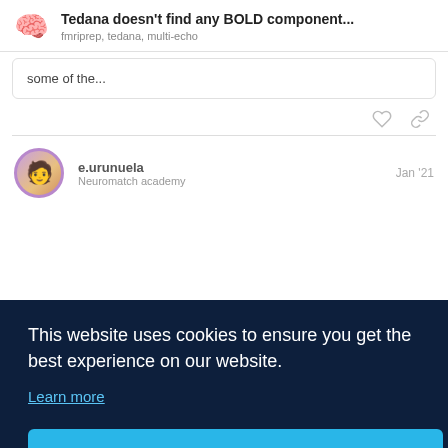Tedana doesn't find any BOLD component... fmriprep, tedana, multi-echo
some of the...
e.urunuela Jan '21 Neuromatch academy
ve the -seed
s why d on the
This website uses cookies to ensure you get the best experience on our website.
Learn more
Got it!
a solution 😊